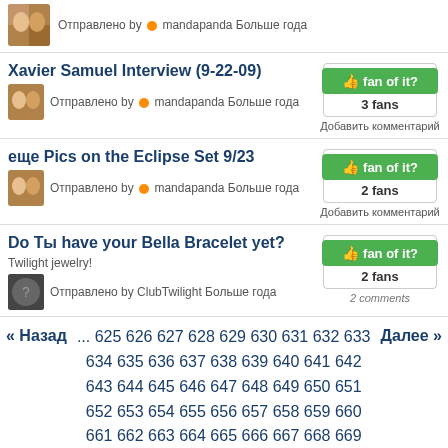Отправлено by mandapanda Больше года
Xavier Samuel Interview (9-22-09)
Отправлено by mandapanda Больше года
3 fans
Добавить комментарий
еще Pics on the Eclipse Set 9/23
Отправлено by mandapanda Больше года
2 fans
Добавить комментарий
Do Ты have your Bella Bracelet yet?
Twilight jewelry!
Отправлено by ClubTwilight Больше года
2 fans
2 comments
« Назад ... 625 626 627 628 629 630 631 632 633 634 635 636 637 638 639 640 641 642 643 644 645 646 647 648 649 650 651 652 653 654 655 656 657 658 659 660 661 662 663 664 665 666 667 668 669 670 671 672 673 674 675 676 677 678 679 680 681 682 683 684 685 686 687 688 Далее »